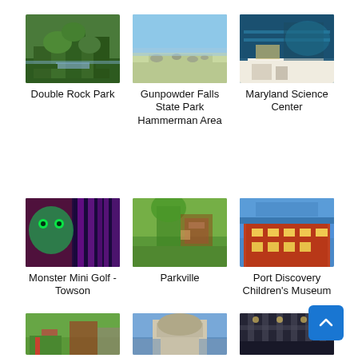[Figure (photo): Photo of Double Rock Park - forest stream]
Double Rock Park
[Figure (photo): Photo of Gunpowder Falls State Park Hammerman Area - beach/waterfront]
Gunpowder Falls State Park Hammerman Area
[Figure (photo): Photo of Maryland Science Center - interior with exhibits]
Maryland Science Center
[Figure (photo): Photo of Monster Mini Golf - Towson, dark indoor glow setting]
Monster Mini Golf - Towson
[Figure (photo): Photo of Parkville - park/outdoor scene]
Parkville
[Figure (photo): Photo of Port Discovery Children's Museum - brick building exterior]
Port Discovery Children's Museum
[Figure (photo): Photo - playground scene]
[Figure (photo): Photo - building with dome]
[Figure (photo): Photo - indoor space]